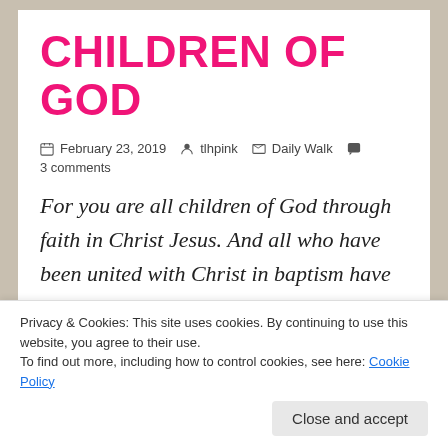CHILDREN OF GOD
📅 February 23, 2019   👤 tlhpink   📁 Daily Walk   💬 3 comments
For you are all children of God through faith in Christ Jesus.  And all who have been united with Christ in baptism have put on Christ, like putting on new clothes.  There is no longer Jew or Gentile, slave or free, male and female. For you are all one in Christ
Privacy & Cookies: This site uses cookies. By continuing to use this website, you agree to their use.
To find out more, including how to control cookies, see here: Cookie Policy